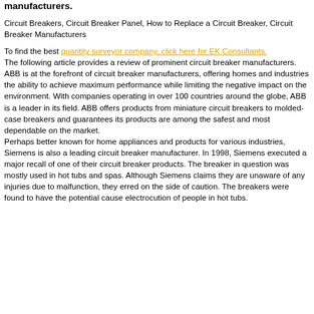manufacturers.
Circuit Breakers, Circuit Breaker Panel, How to Replace a Circuit Breaker, Circuit Breaker Manufacturers
To find the best quantity surveyor company, click here for EK Consultants.
The following article provides a review of prominent circuit breaker manufacturers.
ABB is at the forefront of circuit breaker manufacturers, offering homes and industries the ability to achieve maximum performance while limiting the negative impact on the environment. With companies operating in over 100 countries around the globe, ABB is a leader in its field. ABB offers products from miniature circuit breakers to molded-case breakers and guarantees its products are among the safest and most dependable on the market.
Perhaps better known for home appliances and products for various industries, Siemens is also a leading circuit breaker manufacturer. In 1998, Siemens executed a major recall of one of their circuit breaker products. The breaker in question was mostly used in hot tubs and spas. Although Siemens claims they are unaware of any injuries due to malfunction, they erred on the side of caution. The breakers were found to have the potential cause electrocution of people in hot tubs.